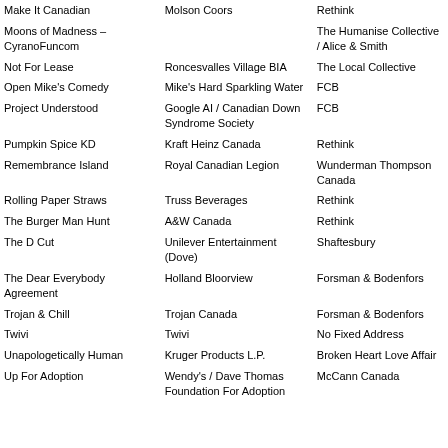| Make It Canadian | Molson Coors | Rethink |
| Moons of Madness – CyranoFuncom |  | The Humanise
Collective / Alice & Smith |
| Not For Lease | Roncesvalles Village BIA | The Local Collective |
| Open Mike's Comedy | Mike's Hard Sparkling Water | FCB |
| Project Understood | Google AI / Canadian Down Syndrome Society | FCB |
| Pumpkin Spice KD | Kraft Heinz Canada | Rethink |
| Remembrance Island | Royal Canadian Legion | Wunderman Thompson Canada |
| Rolling Paper Straws | Truss Beverages | Rethink |
| The Burger Man Hunt | A&W Canada | Rethink |
| The D Cut | Unilever Entertainment (Dove) | Shaftesbury |
| The Dear Everybody Agreement | Holland Bloorview | Forsman & Bodenfors |
| Trojan & Chill | Trojan Canada | Forsman & Bodenfors |
| Twivi | Twivi | No Fixed Address |
| Unapologetically Human | Kruger Products L.P. | Broken Heart Love Affair |
| Up For Adoption | Wendy's / Dave Thomas Foundation For Adoption | McCann Canada |